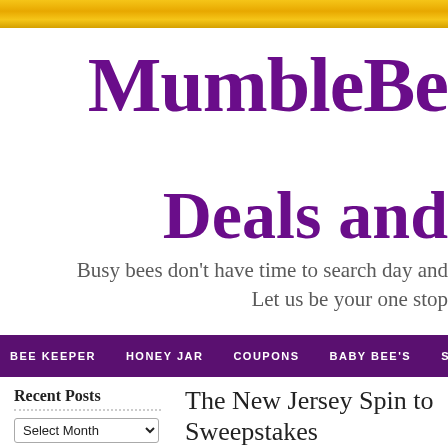MumbleBe... Deals and...
Busy bees don't have time to search day and ... Let us be your one stop...
BEE KEEPER | HONEY JAR | COUPONS | BABY BEE'S | STORES
Recent Posts
The New Jersey Spin to Sweepstakes
April 10, 2012 by MumbleBee  1 Comm...